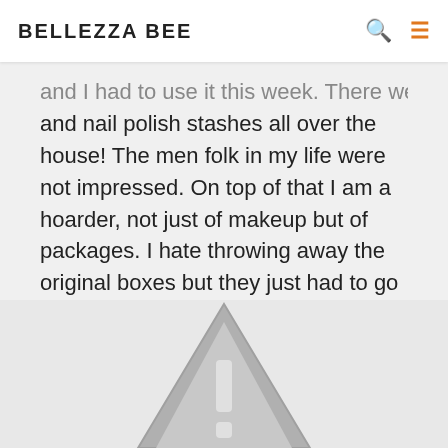BELLEZZA BEE
and I had to use it this week. There were makeup and nail polish stashes all over the house! The men folk in my life were not impressed. On top of that I am a hoarder, not just of makeup but of packages. I hate throwing away the original boxes but they just had to go since these simple things were taking up way too much space.
[Figure (illustration): Partially visible triangular warning/caution icon in gray tones, cropped at bottom of page]